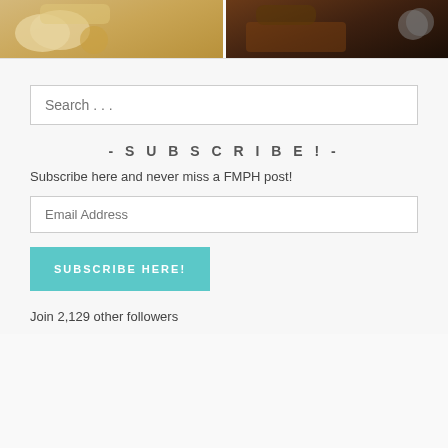[Figure (photo): Two food photos side by side at the top of the page — left shows a bowl of soup/sauce with fried food items, right shows a dark glazed dish in a pan]
Search . . .
- SUBSCRIBE! -
Subscribe here and never miss a FMPH post!
Email Address
SUBSCRIBE HERE!
Join 2,129 other followers